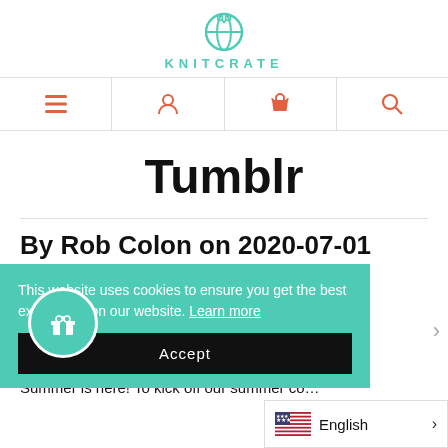[Figure (logo): KnitCrate logo with teal yarn/scissors icon above the text KNITCRATE in teal letters]
Navigation bar with hamburger menu, user icon, shopping bag icon, and search icon
Tumblr
By Rob Colon on 2020-07-01
This website uses cookies to ensure you get the best experience on our website. Learn more
Accept
English
Summer is here! To kick off our summer co…